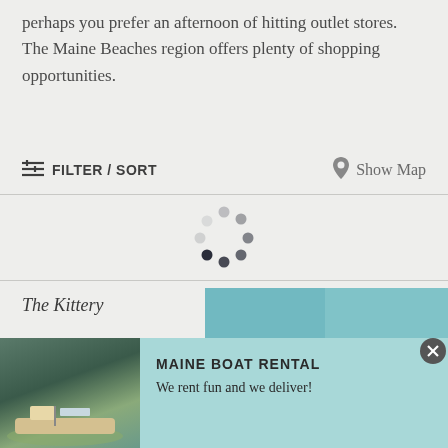perhaps you prefer an afternoon of hitting outlet stores. The Maine Beaches region offers plenty of shopping opportunities.
FILTER / SORT
Show Map
[Figure (other): Loading spinner with 8 dark dots arranged in a circle pattern]
The Kittery
[Figure (photo): Teal/blue colored partial photo of a listing]
[Figure (other): Teal circular chat/message button icon in bottom right area]
[Figure (other): Advertisement banner for Maine Boat Rental showing a pontoon boat photo on the left with text MAINE BOAT RENTAL / We rent fun and we deliver!]